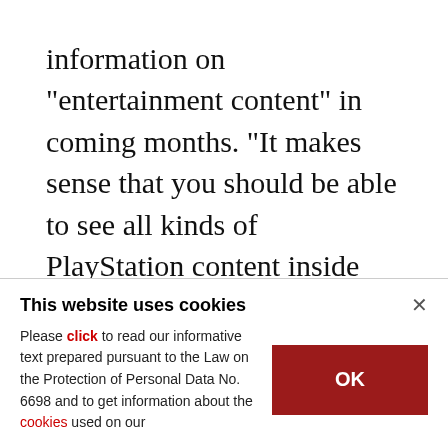information on "entertainment content" in coming months. "It makes sense that you should be able to see all kinds of PlayStation content inside the headset," Blau said. "I think it will extend PlayStation into areas it has never been before." For example, Blau noted, PlayStation VR could expand to include sports viewing, streaming films or television shows, and even be put to work use by businesses.
This website uses cookies
Please click to read our informative text prepared pursuant to the Law on the Protection of Personal Data No. 6698 and to get information about the cookies used on our